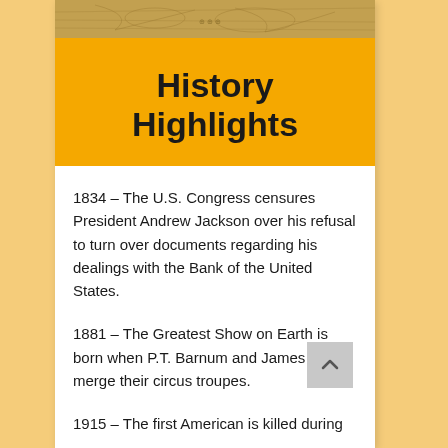[Figure (illustration): Decorative historical map image at the top of the card]
History Highlights
1834 – The U.S. Congress censures President Andrew Jackson over his refusal to turn over documents regarding his dealings with the Bank of the United States.
1881 – The Greatest Show on Earth is born when P.T. Barnum and James Bailey merge their circus troupes.
1915 – The first American is killed during